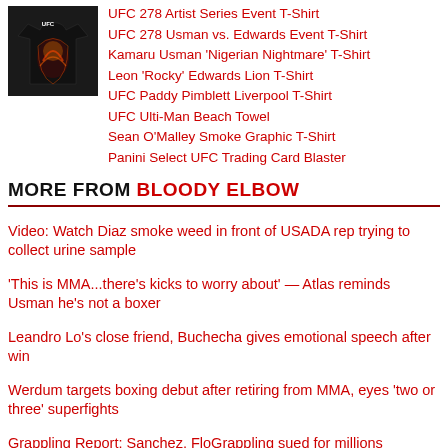[Figure (photo): UFC event t-shirt on black background with fighter artwork]
UFC 278 Artist Series Event T-Shirt
UFC 278 Usman vs. Edwards Event T-Shirt
Kamaru Usman 'Nigerian Nightmare' T-Shirt
Leon 'Rocky' Edwards Lion T-Shirt
UFC Paddy Pimblett Liverpool T-Shirt
UFC Ulti-Man Beach Towel
Sean O'Malley Smoke Graphic T-Shirt
Panini Select UFC Trading Card Blaster
MORE FROM BLOODY ELBOW
Video: Watch Diaz smoke weed in front of USADA rep trying to collect urine sample
'This is MMA...there's kicks to worry about' — Atlas reminds Usman he's not a boxer
Leandro Lo's close friend, Buchecha gives emotional speech after win
Werdum targets boxing debut after retiring from MMA, eyes 'two or three' superfights
Grappling Report: Sanchez, FloGrappling sued for millions